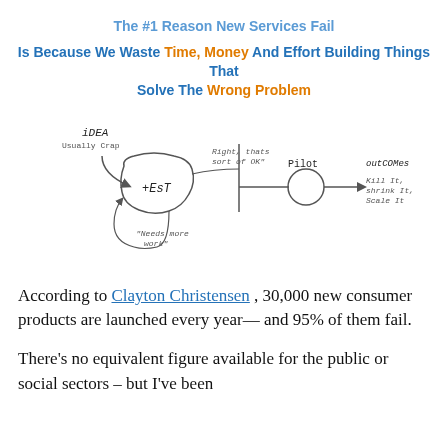The #1 Reason New Services Fail
Is Because We Waste Time, Money And Effort Building Things That Solve The Wrong Problem
[Figure (flowchart): Hand-drawn flowchart showing: IDEA (Usually Crap) → loop: TEST → 'Right, thats sort of OK' → 'Needs more work' (loop back) → PILOT → OUTCOMES: Kill It, Shrink It, Scale It]
According to Clayton Christensen , 30,000 new consumer products are launched every year— and 95% of them fail.
There's no equivalent figure available for the public or social sectors – but I've been